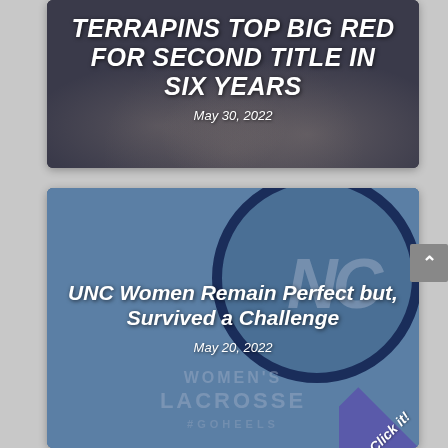[Figure (photo): Sports news card with lacrosse players celebrating; title overlay reads 'TERRAPINS TOP BIG RED FOR SECOND TITLE IN SIX YEARS' dated May 30, 2022]
TERRAPINS TOP BIG RED FOR SECOND TITLE IN SIX YEARS
May 30, 2022
[Figure (photo): Sports news card with UNC Women's Lacrosse logo; title overlay reads 'UNC Women Remain Perfect but, Survived a Challenge' dated May 20, 2022]
UNC Women Remain Perfect but, Survived a Challenge
May 20, 2022